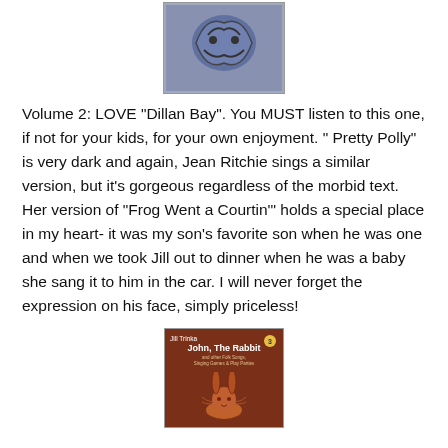[Figure (illustration): Book cover image partially visible at top — appears to be a blue/grey illustrated cover, cropped at top of page]
Volume 2:  LOVE "Dillan Bay".  You MUST listen to this one, if not for your kids, for your own enjoyment. " Pretty Polly" is very dark and again, Jean Ritchie sings a similar version, but it's gorgeous regardless of the morbid text.  Her version of "Frog Went a Courtin'" holds a special place in my heart- it was my son's favorite son when he was one and when we took Jill out to dinner when he was a baby she sang it to him in the car.  I will never forget the expression on his face, simply priceless!
[Figure (illustration): Book cover for 'John, The Rabbit' by Jill Trinka, Volume 3. Brown/rust colored cover with an illustrated rabbit drawing. Subtitle text about folk songs.]